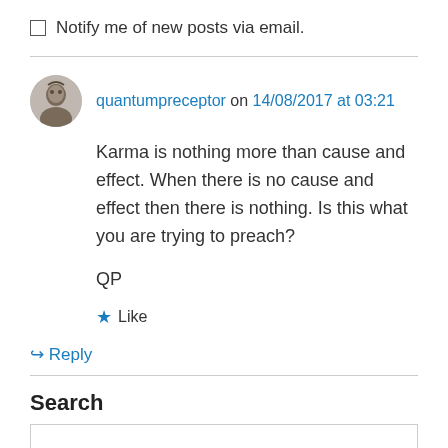Notify me of new posts via email.
quantumpreceptor on 14/08/2017 at 03:21
Karma is nothing more than cause and effect. When there is no cause and effect then there is nothing. Is this what you are trying to preach?

QP
Like
Reply
Search